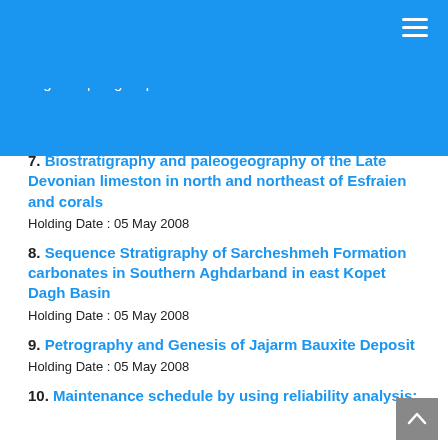Sign In | Sign Up
Holding Date : 21 May 2008
7. Biostratigraphy and paleogeography of the Late Devonian limeston in north and northeast of Esfraien and corals
Holding Date : 05 May 2008
8. Sequence Stratigraphy of Sarcheshmeh Formation carbonates in Southern Aghdarband in east Kopet Dagh Basin
Holding Date : 05 May 2008
9. Petrography and Genesis of Jajarm Bauxite Deposit
Holding Date : 05 May 2008
10. Maintenance schedule by using reliability analysis;